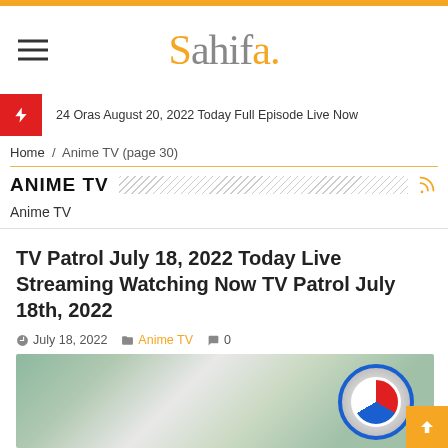Sahifa.
24 Oras August 20, 2022 Today Full Episode Live Now
Home / Anime TV (page 30)
ANIME TV
Anime TV
TV Patrol July 18, 2022 Today Live Streaming Watching Now TV Patrol July 18th, 2022
July 18, 2022   Anime TV   0
[Figure (photo): TV Patrol logo thumbnail with circular logo on colorful background]